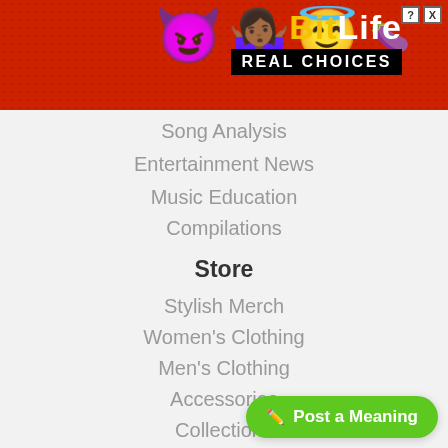[Figure (screenshot): BitLife advertisement banner with red background, emojis (devil, woman shrugging, angel face, sperm), BitLife logo in yellow and white text, and 'REAL CHOICES' tagline in black bar]
Song Analysis
Entertainment News
Music Education
Compilations
Store
Stylish Merch
Women's Clothing
Men's Clothing
Accessories
Collections
Support
[Figure (screenshot): Green 'Post a Meaning' button with pencil icon in bottom right corner]